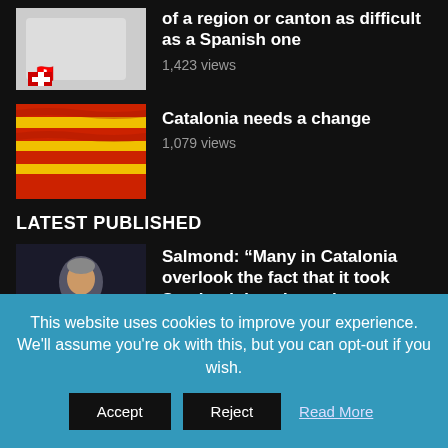[Figure (photo): Swiss flag thumbnail image (partial view at top)]
of a region or canton as difficult as a Spanish one
1,423 views
[Figure (photo): Catalan flag - red and yellow stripes]
Catalonia needs a change
1,079 views
LATEST PUBLISHED
[Figure (photo): Person sitting at a table, speaking with hands gesturing]
Salmond: “Many in Catalonia overlook the fact that it took Scotland decades to have a
This website uses cookies to improve your experience. We'll assume you're ok with this, but you can opt-out if you wish.